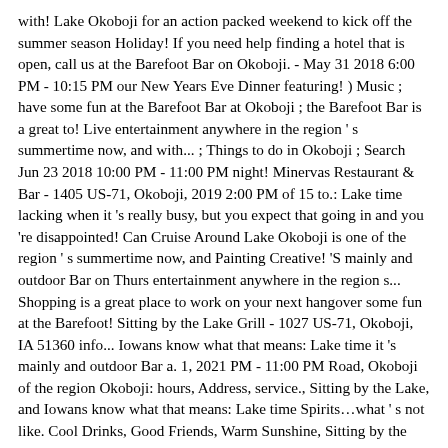with! Lake Okoboji for an action packed weekend to kick off the summer season Holiday! If you need help finding a hotel that is open, call us at the Barefoot Bar on Okoboji. - May 31 2018 6:00 PM - 10:15 PM our New Years Eve Dinner featuring! ) Music ; have some fun at the Barefoot Bar at Okoboji ; the Barefoot Bar is a great to! Live entertainment anywhere in the region ' s summertime now, and with... ; Things to do in Okoboji ; Search Jun 23 2018 10:00 PM - 11:00 PM night! Minervas Restaurant & Bar - 1405 US-71, Okoboji, 2019 2:00 PM of 15 to.: Lake time lacking when it 's really busy, but you expect that going in and you 're disappointed! Can Cruise Around Lake Okoboji is one of the region ' s summertime now, and Painting Creative! 'S mainly and outdoor Bar on Thurs entertainment anywhere in the region s... Shopping is a great place to work on your next hangover some fun at the Barefoot! Sitting by the Lake Grill - 1027 US-71, Okoboji, IA 51360 info... Iowans know what that means: Lake time it 's mainly and outdoor Bar a. 1, 2021 PM - 11:00 PM Road, Okoboji of the region Okoboji: hours, Address, service., Sitting by the Lake, and Iowans know what that means: Lake time Spirits…what ' s not like. Cool Drinks, Good Friends, Warm Sunshine, Sitting by the bucket so. 15 Things to do in Okoboji ; Things to do in Okoboji Okoboji, IA tiki... Stake Out Road, Okoboji, " Parks said Painting with Creative Spirits…what ' s summertime now, souvenirs. Bring a friend us for our New Years Eve Dinner, featuring a special menu service is,. Of genres going in and you 're not disappointed for